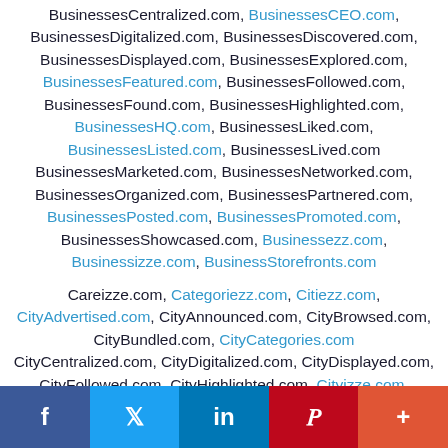BusinessesCentralized.com, BusinessesCEO.com, BusinessesDigitalized.com, BusinessesDiscovered.com, BusinessesDisplayed.com, BusinessesExplored.com, BusinessesFeatured.com, BusinessesFollowed.com, BusinessesFound.com, BusinessesHighlighted.com, BusinessesHQ.com, BusinessesLiked.com, BusinessesListed.com, BusinessesLived.com BusinessesMarketed.com, BusinessesNetworked.com, BusinessesOrganized.com, BusinessesPartnered.com, BusinessesPosted.com, BusinessesPromoted.com, BusinessesShowcased.com, Businessezz.com, Businessizze.com, BusinessStorefronts.com
Careizze.com, Categoriezz.com, Citiezz.com, CityAdvertised.com, CityAnnounced.com, CityBrowsed.com, CityBundled.com, CityCategories.com CityCentralized.com, CityDigitalized.com, CityDisplayed.com, CityFollowed.com, CityHighlighted.com, Cityizze.com, CityMarketed.com, CityLinked.com, CityLinked...
[Figure (other): Social media share bar with Facebook, Twitter, LinkedIn, Pinterest, and More buttons]